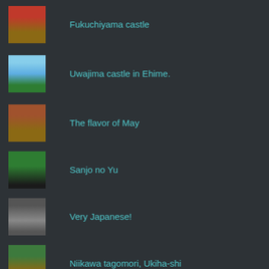Fukuchiyama castle
Uwajima castle in Ehime.
The flavor of May
Sanjo no Yu
Very Japanese!
Niikawa tagomori, Ukiha-shi
Mount Fuji, Fujinomiya, Shizuoka